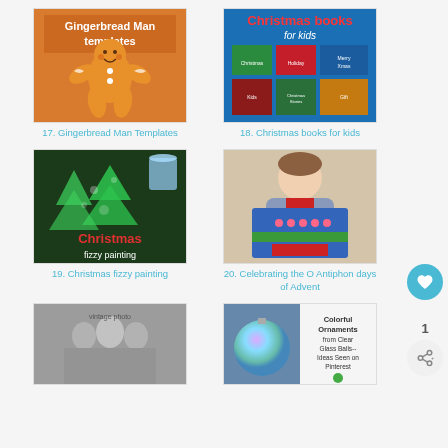[Figure (photo): Gingerbread Man Templates - orange gingerbread man illustration on brown/orange background with title text]
17. Gingerbread Man Templates
[Figure (photo): Christmas books for kids - collage of Christmas book covers]
18. Christmas books for kids
[Figure (photo): Christmas fizzy painting - green Christmas tree shapes with fizzy paint on dark background]
19. Christmas fizzy painting
[Figure (photo): Child holding a blue decorated advent box/calendar]
20. Celebrating the O Antiphon days of Advent
[Figure (photo): Black and white vintage Christmas photo]
[Figure (photo): Colorful Ornaments from Clear Glass Balls - Ideas Seen on Pinterest, collage of ornaments]